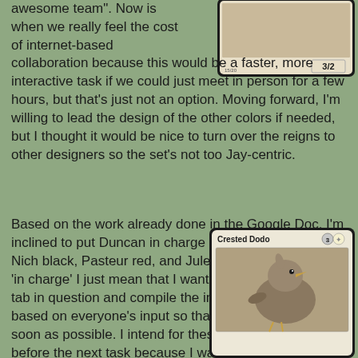awesome team". Now is when we really feel the cost of internet-based collaboration because this would be a faster, more interactive task if we could just meet in person for a few hours, but that's just not an option. Moving forward, I'm willing to lead the design of the other colors if needed, but I thought it would be nice to turn over the reigns to other designers so the set's not too Jay-centric.
[Figure (illustration): Magic: The Gathering card showing top portion with stat 3/2 in bottom right corner, card art area visible]
Based on the work already done in the Google Doc, I'm inclined to put Duncan in charge of green, Chah blue, Nich black, Pasteur red, and Jules colorless for now. By 'in charge' I just mean that I want you to maintain the tab in question and compile the initial list of commons based on everyone's input so that we can get testing as soon as possible. I intend for these posts to change before the next task because I want to give as many people chances as would like them and I would like as many perspectives as possible. If any of you can't accept leadership for this task or would prefer not to,
[Figure (illustration): Magic: The Gathering card titled 'Crested Dodo' with mana cost 3W, showing bird artwork]